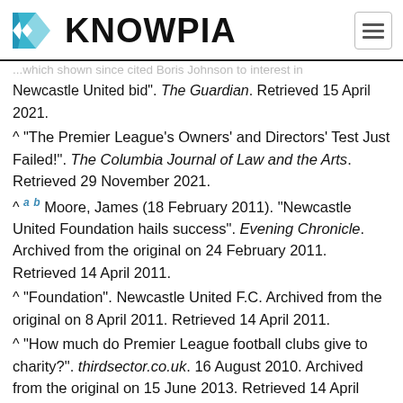KNOWPIA
...which shown since cited Boris Johnson to interest in Newcastle United bid". The Guardian. Retrieved 15 April 2021.
^ "The Premier League's Owners' and Directors' Test Just Failed!". The Columbia Journal of Law and the Arts. Retrieved 29 November 2021.
^ a b Moore, James (18 February 2011). "Newcastle United Foundation hails success". Evening Chronicle. Archived from the original on 24 February 2011. Retrieved 14 April 2011.
^ "Foundation". Newcastle United F.C. Archived from the original on 8 April 2011. Retrieved 14 April 2011.
^ "How much do Premier League football clubs give to charity?". thirdsector.co.uk. 16 August 2010. Archived from the original on 15 June 2013. Retrieved 14 April 2011.
^ Parthasarathi, Shyam (3 June 2008). "English Premier League Aston Villa Merit Charity Corporate in Deal"